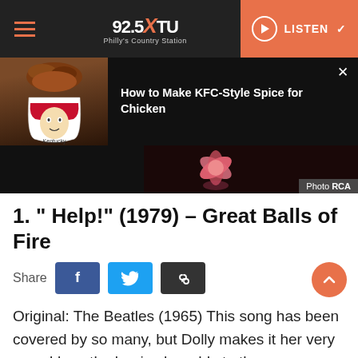92.5 XTU – Philly's Country Station | LISTEN
[Figure (screenshot): Ad overlay with KFC chicken bucket image and text: How to Make KFC-Style Spice for Chicken]
[Figure (photo): Dark background photo with pink flower, Photo credit: RCA]
1. " Help!" (1979) – Great Balls of Fire
Share
Original: The Beatles (1965) This song has been covered by so many, but Dolly makes it her very own. I love the banjo she adds to the